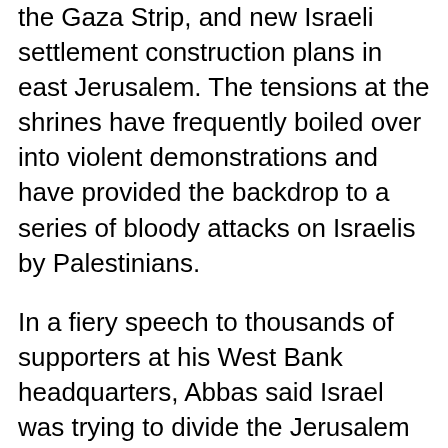the Gaza Strip, and new Israeli settlement construction plans in east Jerusalem. The tensions at the shrines have frequently boiled over into violent demonstrations and have provided the backdrop to a series of bloody attacks on Israelis by Palestinians.
In a fiery speech to thousands of supporters at his West Bank headquarters, Abbas said Israel was trying to divide the Jerusalem site, which includes the Al-Aqsa Mosque, much as it split a shared holy site in the West Bank city of Hebron after a Jewish settler gunned down 29 Muslim worshippers 29 years ago.
"Leaders of Israel are mistaken if they think they can divide the Al-Aqsa Mosque as they have done in Ibrahimi Mosque, and they will retreat from this one, too," Abbas said. "By dividing the mosques, they are leading us to a religious war,